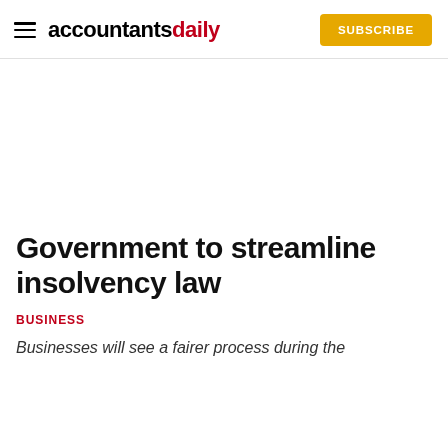accountantsdaily — SUBSCRIBE
Government to streamline insolvency law
BUSINESS
Businesses will see a fairer process during the